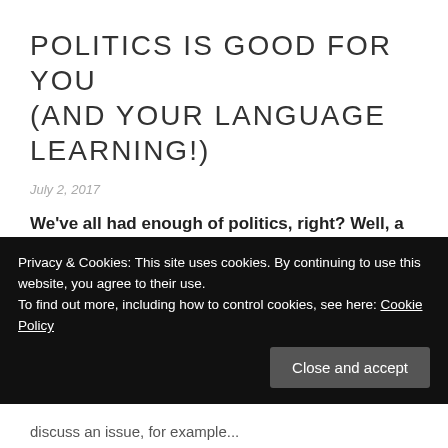POLITICS IS GOOD FOR YOU (AND YOUR LANGUAGE LEARNING!)
July 2, 2017
We've all had enough of politics, right? Well, a bit of it might be good for you, if you're learning a foreign language.
One of the biggest advantages of following political...
Privacy & Cookies: This site uses cookies. By continuing to use this website, you agree to their use.
To find out more, including how to control cookies, see here: Cookie Policy
discuss an issue, for example...